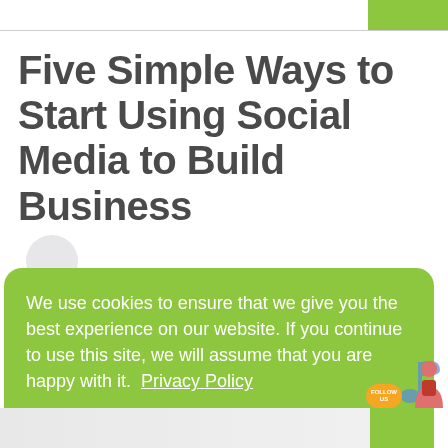Five Simple Ways to Start Using Social Media to Build Business
We use cookies to ensure that we give you the best experience on our website. If you continue to use this site, we will assume that you are happy with it.  Privacy Policy
Ok
[Figure (illustration): Bottom strip with social media icons and decorative figures including a woman, music note, and follow badge]